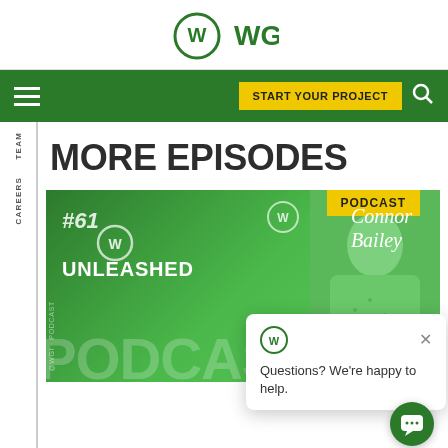WGI
MORE EPISODES
[Figure (illustration): WGI Unleashed Podcast episode #61 featuring Connor Bailey. Green themed podcast card with WGI logo, episode number #61, UNLEASHED text, PODCAST watermark, yellow PODCAST badge top right, host name 'Connor Bailey' in script font, and a photo of the host on the right side.]
Questions? We're happy to help.